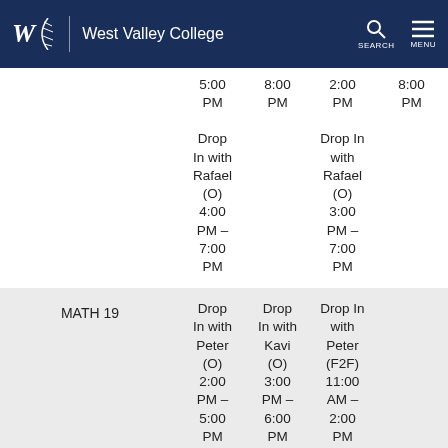[Figure (logo): West Valley College header logo with navigation icons (Search, Menu) on dark navy background]
|  | Mon/Wed | Tue/Thu | Wed | Fri |
| --- | --- | --- | --- | --- |
|  | 5:00 PM | 8:00 PM | 2:00 PM | 8:00 PM |
|  | Drop In with Rafael (O) 4:00 PM – 7:00 PM |  | Drop In with Rafael (O) 3:00 PM – 7:00 PM |  |
| MATH 19 | Drop In with Peter (O) 2:00 PM – 5:00 PM | Drop In with Kavi (O) 3:00 PM – 6:00 PM | Drop In with Peter (F2F) 11:00 AM – 2:00 PM |  |